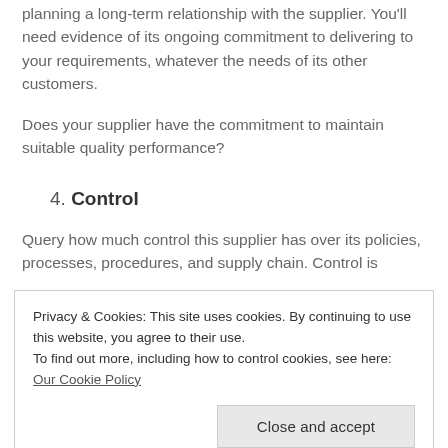planning a long-term relationship with the supplier. You'll need evidence of its ongoing commitment to delivering to your requirements, whatever the needs of its other customers.
Does your supplier have the commitment to maintain suitable quality performance?
4. Control
Query how much control this supplier has over its policies, processes, procedures, and supply chain. Control is
Privacy & Cookies: This site uses cookies. By continuing to use this website, you agree to their use.
To find out more, including how to control cookies, see here: Our Cookie Policy
Close and accept
control how the supplier delivers against your supplier